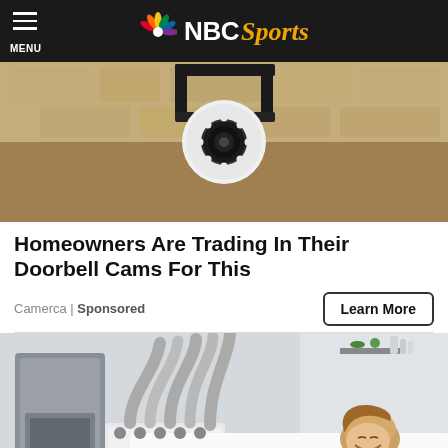NBC Sports
[Figure (photo): Security camera mounted on a wall bracket, white camera with ring of LED lights, mounted on brick/stone wall]
Homeowners Are Trading In Their Doorbell Cams For This
Camerca | Sponsored
Learn More
[Figure (photo): Medical/beauty treatment machine with multiple flexible gray tubes/hoses connected to a white base unit, with a smiling woman lying on a treatment table in the background]